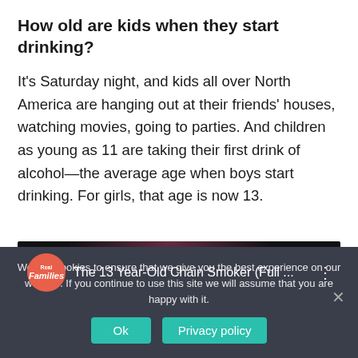How old are kids when they start drinking?
It’s Saturday night, and kids all over North America are hanging out at their friends’ houses, watching movies, going to parties. And children as young as 11 are taking their first drink of alcohol—the average age when boys start drinking. For girls, that age is now 13.
[Figure (screenshot): YouTube-style video thumbnail with dark background, pink glow, logo for 'Real Families' channel, title 'The 13 Year-Old Chain Smoker (Full ...' and a three-dot menu icon]
We use cookies to ensure that we give you the best experience on our website. If you continue to use this site we will assume that you are happy with it.